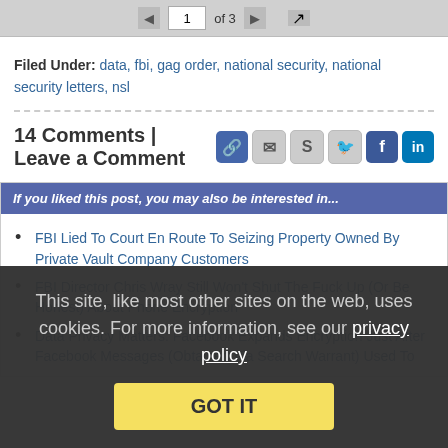1 of 3
Filed Under: data, fbi, gag order, national security, national security letters, nsl
14 Comments | Leave a Comment
If you liked this post, you may also be interested in...
FBI Lied To Court En Route To Seizing Property Owned By Private Vault Company Customers
FBI Director Chris Wray Still Won't Shut The Fuck Up (Or Be Honest) About Phone Encryption
Data Privacy Matters: Facebook Expands Encryption Just After Facebook Messages (Obtained Via Search Warrant) Used To
This site, like most other sites on the web, uses cookies. For more information, see our privacy policy
GOT IT